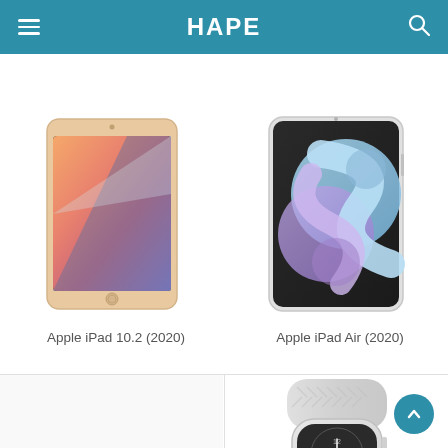HAPE
[Figure (photo): Apple iPad 10.2 (2020) tablet in gold color shown at an angle, displaying colorful wallpaper]
Apple iPad 10.2 (2020)
[Figure (photo): Apple iPad Air (2020) in silver color showing colorful abstract wallpaper with swirling shapes]
Apple iPad Air (2020)
[Figure (photo): Apple Watch with light gray woven braided band, partially visible at bottom of screen]